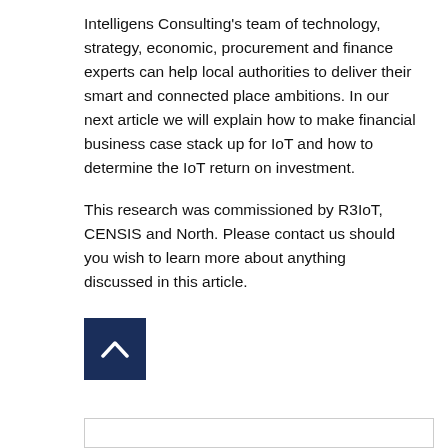Intelligens Consulting's team of technology, strategy, economic, procurement and finance experts can help local authorities to deliver their smart and connected place ambitions. In our next article we will explain how to make financial business case stack up for IoT and how to determine the IoT return on investment.
This research was commissioned by R3IoT, CENSIS and North. Please contact us should you wish to learn more about anything discussed in this article.